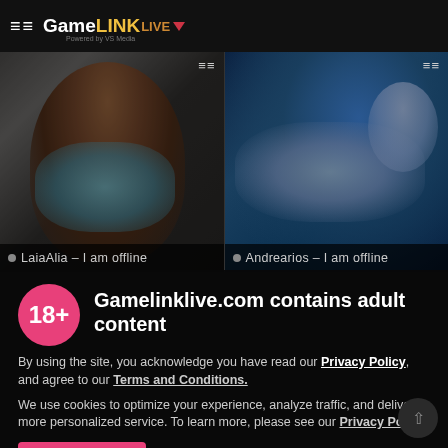GameLink LIVE – 120 CREDITS FREE!
[Figure (screenshot): Two webcam model thumbnails side by side. Left: woman in blue top, dark background. Right: woman in white top on blue-lit background. Both labeled as offline.]
● LaiaAlia – I am offline
● Andrearios – I am offline
Gamelinklive.com contains adult content
By using the site, you acknowledge you have read our Privacy Policy, and agree to our Terms and Conditions.
We use cookies to optimize your experience, analyze traffic, and deliver more personalized service. To learn more, please see our Privacy Policy.
I AGREE